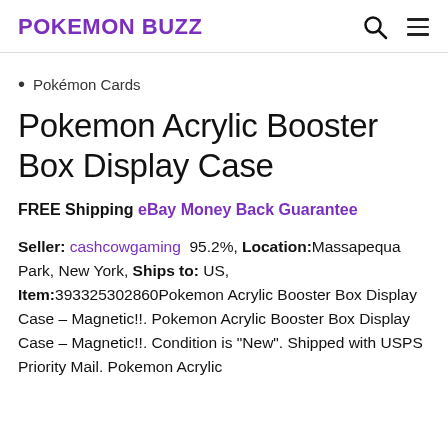POKEMON BUZZ
Pokémon Cards
Pokemon Acrylic Booster Box Display Case
FREE Shipping eBay Money Back Guarantee
Seller: cashcowgaming  95.2%, Location:Massapequa Park, New York, Ships to: US, Item:393325302860Pokemon Acrylic Booster Box Display Case – Magnetic!!. Pokemon Acrylic Booster Box Display Case – Magnetic!!. Condition is "New". Shipped with USPS Priority Mail. Pokemon Acrylic